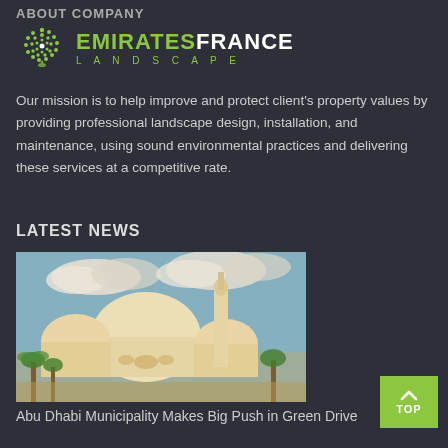ABOUT COMPANY
[Figure (logo): Emirates France Landscape logo with green leaf/dot icon and company name]
Our mission is to help improve and protect client's property values by providing professional landscape design, installation, and maintenance, using sound environmental practices and delivering these services at a competitive rate.
LATEST NEWS
[Figure (photo): Photo of a large white mosque with domes and a minaret against a blue sky with clouds and palm trees in the foreground]
Abu Dhabi Municipality Makes Big Push in Green Drive